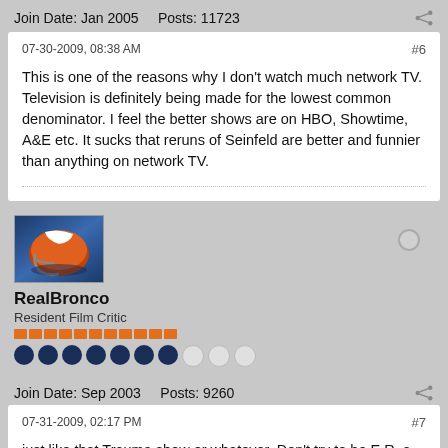Join Date: Jan 2005    Posts: 11723
07-30-2009, 08:38 AM
#6
This is one of the reasons why I don't watch much network TV. Television is definitely being made for the lowest common denominator. I feel the better shows are on HBO, Showtime, A&E etc. It sucks that reruns of Seinfeld are better and funnier than anything on network TV.
[Figure (photo): User avatar showing a football helmet with orange and blue colors]
RealBronco
Resident Film Critic
Join Date: Sep 2003    Posts: 9260
07-31-2009, 02:17 PM
#7
just like that Trauma show or whatever. Don't try to be E.R. a-holes. You won't succeed. Chicago Hope couldn't do it and neither could any other medical drama after and you can bet the time is attn in the